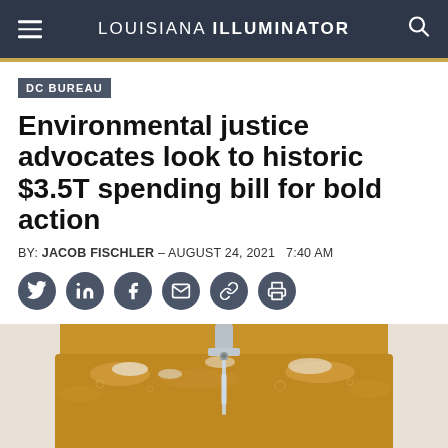LOUISIANA ILLUMINATOR
DC BUREAU
Environmental justice advocates look to historic $3.5T spending bill for bold action
BY: JACOB FISCHLER – AUGUST 24, 2021  7:40 AM
[Figure (infographic): Row of six dark circular social media sharing icons: Twitter, LinkedIn, Facebook, Email, Link, Print]
[Figure (photo): Close-up photo of dirty brown/orange water filling a white bathtub, with a chrome faucet running in the center]